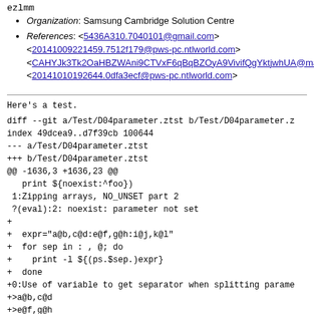ezlmm
Organization: Samsung Cambridge Solution Centre
References: <5436A310.7040101@gmail.com> <20141009221459.7512f179@pws-pc.ntlworld.com> <CAHYJk3Tk2OaHBZWAni9CTVxF6qBqBZOyA9VivifQgYktjwhUA@mail.gmail.com> <20141010192644.0dfa3ecf@pws-pc.ntlworld.com>
Here's a test.
diff --git a/Test/D04parameter.ztst b/Test/D04parameter.z
index 49dcea9..d7f39cb 100644
--- a/Test/D04parameter.ztst
+++ b/Test/D04parameter.ztst
@@ -1636,3 +1636,23 @@
    print ${noexist:^foo})
 1:Zipping arrays, NO_UNSET part 2
 ?(eval):2: noexist: parameter not set
+
+  expr="a@b,c@d:e@f,g@h:i@j,k@l"
+  for sep in : , @; do
+    print -l ${(ps.$sep.)expr}
+  done
+0:Use of variable to get separator when splitting parame
+>a@b,c@d
+>e@f,g@h
+>i@j,k@l
+>a@b